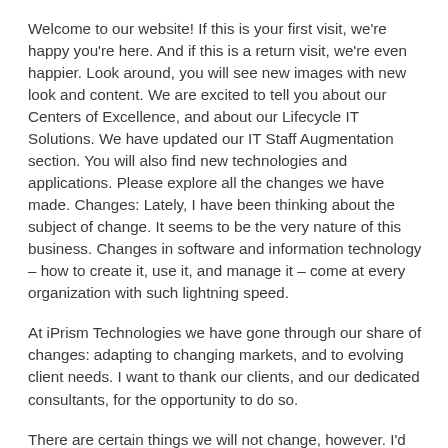Welcome to our website! If this is your first visit, we're happy you're here. And if this is a return visit, we're even happier. Look around, you will see new images with new look and content. We are excited to tell you about our Centers of Excellence, and about our Lifecycle IT Solutions. We have updated our IT Staff Augmentation section. You will also find new technologies and applications. Please explore all the changes we have made. Changes: Lately, I have been thinking about the subject of change. It seems to be the very nature of this business. Changes in software and information technology – how to create it, use it, and manage it – come at every organization with such lightning speed.
At iPrism Technologies we have gone through our share of changes: adapting to changing markets, and to evolving client needs. I want to thank our clients, and our dedicated consultants, for the opportunity to do so.
There are certain things we will not change, however. I'd like to share these with you, too. We founded this